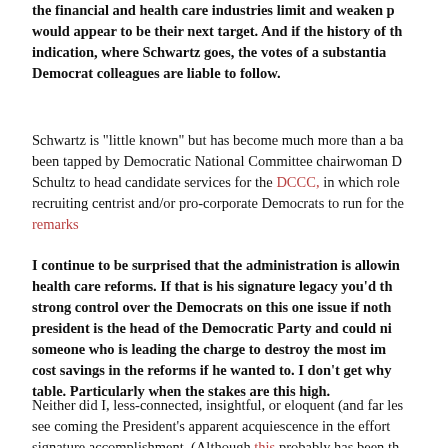the financial and health care industries limit and weaken p would appear to be their next target. And if the history of th indication, where Schwartz goes, the votes of a substantia Democrat colleagues are liable to follow.
Schwartz is "little known" but has become much more than a ba been tapped by Democratic National Committee chairwoman D Schultz to head candidate services for the DCCC, in which role recruiting centrist and/or pro-corporate Democrats to run for the remarks
I continue to be surprised that the administration is allowin health care reforms. If that is his signature legacy you'd th strong control over the Democrats on this one issue if noth president is the head of the Democratic Party and could ni someone who is leading the charge to destroy the most im cost savings in the reforms if he wanted to. I don't get why table. Particularly when the stakes are this high.
Neither did I, less-connected, insightful, or eloquent (and far les see coming the President's apparent acquiescence in the effort signature accomplishment. (Although this probably has been th